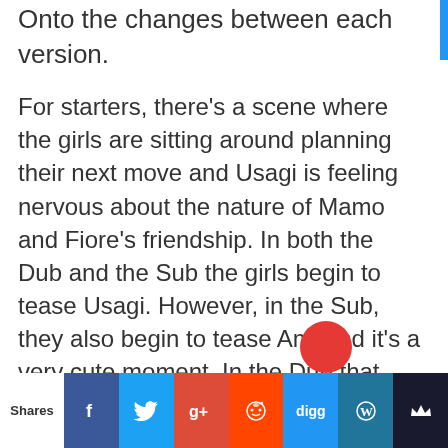Onto the changes between each version.
For starters, there’s a scene where the girls are sitting around planning their next move and Usagi is feeling nervous about the nature of Mamo and Fiore’s friendship. In both the Dub and the Sub the girls begin to tease Usagi. However, in the Sub, they also begin to tease Ami and it’s a very cute moment. In the Dub that Cuteness is Lost. Here is an overview (from my memory) of how it goes in each version.
Dubbed Scene:
Usagi: “Am I overthinking things?... But they sure seemed like more than friends to me”